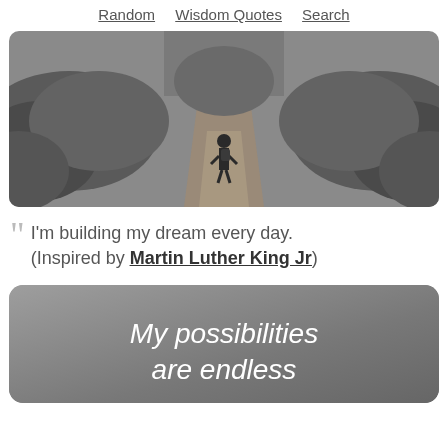Random  Wisdom Quotes  Search
[Figure (photo): Black and white photo of a person walking away along a narrow dirt path flanked by dense shrubbery and trees.]
“ I’m building my dream every day. (Inspired by Martin Luther King Jr)
[Figure (illustration): Gray card with white handwritten-style text reading 'My possibilities are endless']